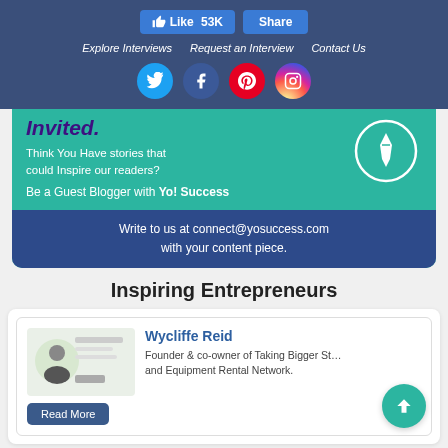Like 53K  Share  |  Explore Interviews  Request an Interview  Contact Us
[Figure (screenshot): Social media icons: Twitter, Facebook, Pinterest, Instagram]
Invited. Think You Have stories that could Inspire our readers? Be a Guest Blogger with Yo! Success
Write to us at connect@yosuccess.com with your content piece.
Inspiring Entrepreneurs
Wycliffe Reid
Founder & co-owner of Taking Bigger Stones and Equipment Rental Network.
Read More